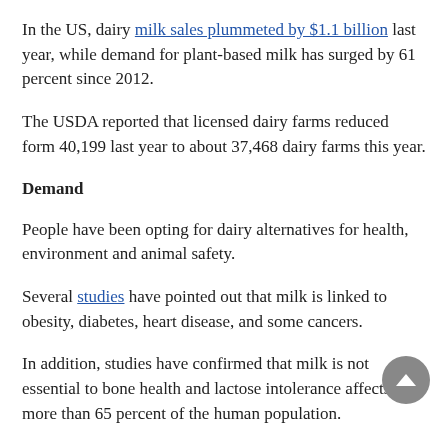In the US, dairy milk sales plummeted by $1.1 billion last year, while demand for plant-based milk has surged by 61 percent since 2012.
The USDA reported that licensed dairy farms reduced form 40,199 last year to about 37,468 dairy farms this year.
Demand
People have been opting for dairy alternatives for health, environment and animal safety.
Several studies have pointed out that milk is linked to obesity, diabetes, heart disease, and some cancers.
In addition, studies have confirmed that milk is not essential to bone health and lactose intolerance affects more than 65 percent of the human population.